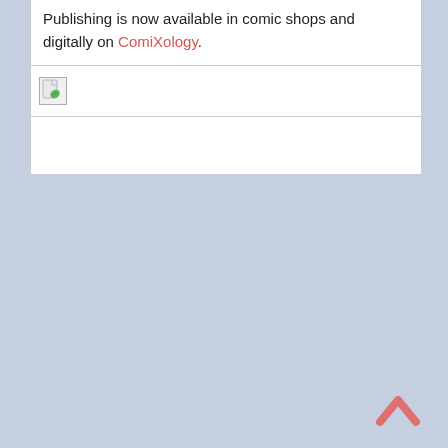Publishing is now available in comic shops and digitally on ComiXology.
[Figure (other): Broken image placeholder icon (small document/image icon with green leaf, indicating a failed image load)]
[Figure (other): Back to top chevron/arrow icon in salmon/red color at bottom right corner]